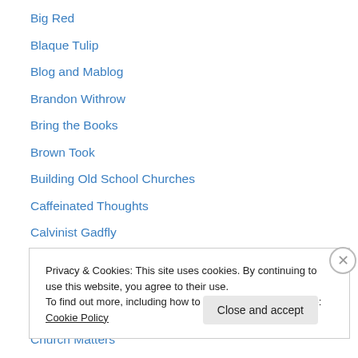Big Red
Blaque Tulip
Blog and Mablog
Brandon Withrow
Bring the Books
Brown Took
Building Old School Churches
Caffeinated Thoughts
Calvinist Gadfly
Canon Fodder
Christ Church PCA
Christian Theology
Church Matters
Privacy & Cookies: This site uses cookies. By continuing to use this website, you agree to their use.
To find out more, including how to control cookies, see here: Cookie Policy
Close and accept